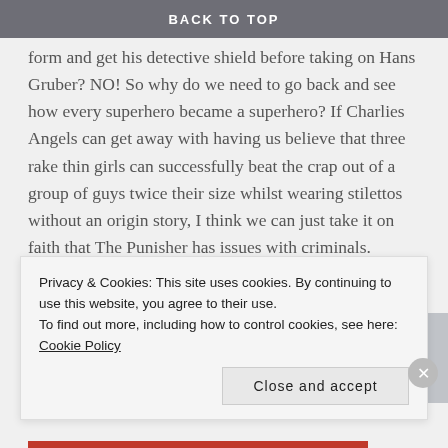BACK TO TOP
form and get his detective shield before taking on Hans Gruber? NO! So why do we need to go back and see how every superhero became a superhero? If Charlies Angels can get away with having us believe that three rake thin girls can successfully beat the crap out of a group of guys twice their size whilst wearing stilettos without an origin story, I think we can just take it on faith that The Punisher has issues with criminals.
Superhero beating up normal people
[Figure (photo): Partial view of a street scene with a dark-cloaked figure and tall building facades in the background.]
Privacy & Cookies: This site uses cookies. By continuing to use this website, you agree to their use.
To find out more, including how to control cookies, see here: Cookie Policy
Close and accept